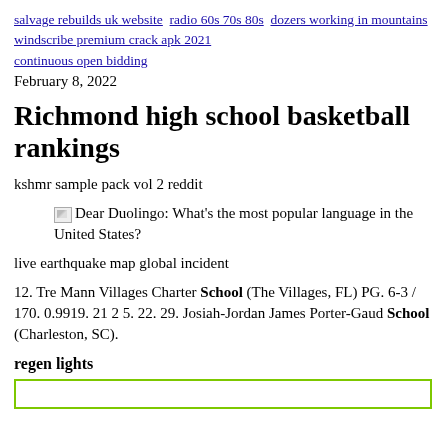salvage rebuilds uk website  radio 60s 70s 80s  dozers working in mountains
windscribe premium crack apk 2021
continuous open bidding
February 8, 2022
Richmond high school basketball rankings
kshmr sample pack vol 2 reddit
[Figure (illustration): Broken image icon followed by text: Dear Duolingo: What’s the most popular language in the United States?]
live earthquake map global incident
12. Tre Mann Villages Charter School (The Villages, FL) PG. 6-3 / 170. 0.9919. 21 2 5. 22. 29. Josiah-Jordan James Porter-Gaud School (Charleston, SC).
regen lights
[Figure (other): Green-bordered box at bottom of page]